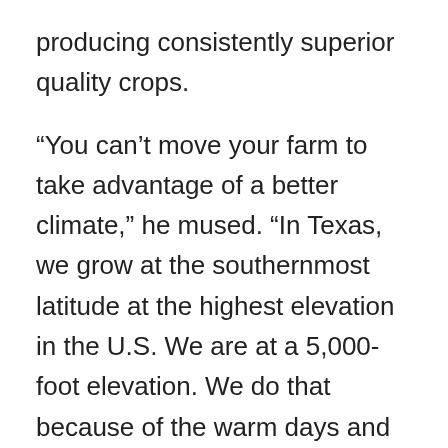producing consistently superior quality crops.
“You can’t move your farm to take advantage of a better climate,” he mused. “In Texas, we grow at the southernmost latitude at the highest elevation in the U.S. We are at a 5,000-foot elevation. We do that because of the warm days and cool nights.”
Natural gas is used to heat the greenhouse at night.
“The boilers designed for greenhouses over